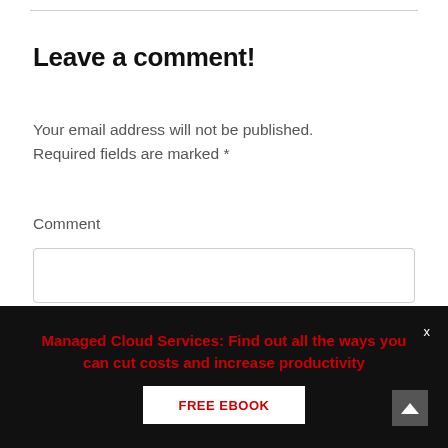Leave a comment!
Your email address will not be published. Required fields are marked *
Comment
[Figure (screenshot): Empty comment text area input box with rounded border]
Managed Cloud Services: Find out all the ways you can cut costs and increase productivity
FREE EBOOK